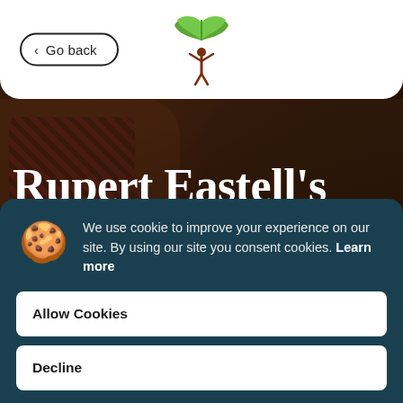Go back
[Figure (logo): Green open book with hands/person figure below — education logo]
Rupert Eastell's
We use cookie to improve your experience on our site. By using our site you consent cookies. Learn more
Allow Cookies
Decline